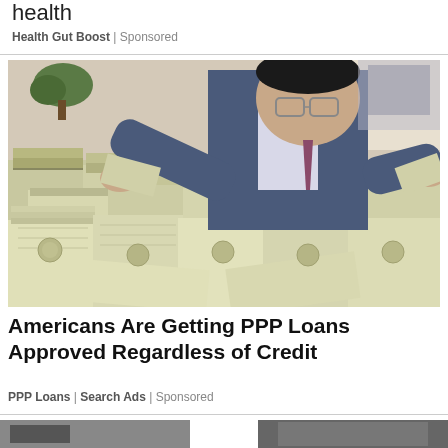health
Health Gut Boost | Sponsored
[Figure (photo): A man in a suit and glasses leaning over a large pile of bundled US dollar bills stacked on a table, in what appears to be a bank office setting.]
Americans Are Getting PPP Loans Approved Regardless of Credit
PPP Loans | Search Ads | Sponsored